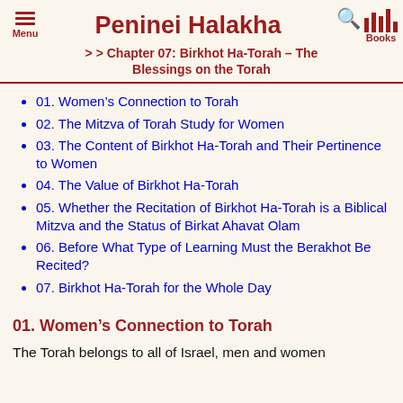Peninei Halakha >> Chapter 07: Birkhot Ha-Torah – The Blessings on the Torah
01. Women's Connection to Torah
02. The Mitzva of Torah Study for Women
03. The Content of Birkhot Ha-Torah and Their Pertinence to Women
04. The Value of Birkhot Ha-Torah
05. Whether the Recitation of Birkhot Ha-Torah is a Biblical Mitzva and the Status of Birkat Ahavat Olam
06. Before What Type of Learning Must the Berakhot Be Recited?
07. Birkhot Ha-Torah for the Whole Day
01. Women's Connection to Torah
The Torah belongs to all of Israel, men and women